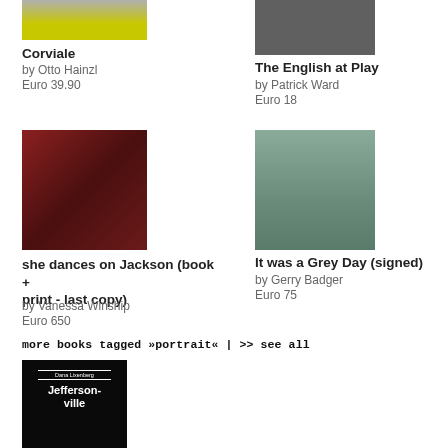[Figure (photo): Book cover of Corviale, partially cropped at top, yellow and grey tones]
Corviale
by Otto Hainzl
Euro 39.90
[Figure (photo): Book cover of The English at Play, partially cropped at top, black and white photo]
The English at Play
by Patrick Ward
Euro 18
[Figure (photo): Book cover of she dances on Jackson, dark red tones with trees]
she dances on Jackson (book + print - last copy)
by Vanessa Winship
Euro 650
[Figure (photo): Book cover of It was a Grey Day, muted green tones with trees and ivy]
It was a Grey Day (signed)
by Gerry Badger
Euro 75
more books tagged »portrait« | >> see all
[Figure (photo): Book cover of Jeffersonvil... by Dana Lixenberg, black background with white text, partially cropped]